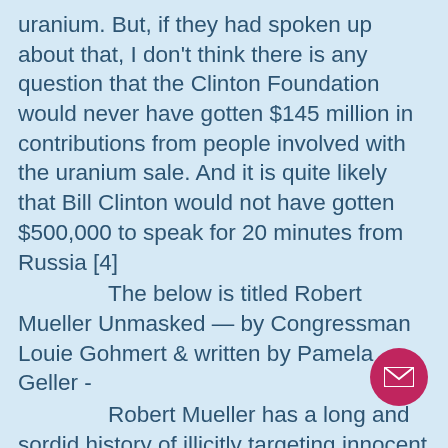uranium. But, if they had spoken up about that, I don't think there is any question that the Clinton Foundation would never have gotten $145 million in contributions from people involved with the uranium sale. And it is quite likely that Bill Clinton would not have gotten $500,000 to speak for 20 minutes from Russia [4]
	The below is titled Robert Mueller Unmasked — by Congressman Louie Gohmert & written by Pamela Geller -
	Robert Mueller has a long and sordid history of illicitly targeting innocent people that is a stain upon the legacy of American jurisprudence. He lacks the judg and credibility to lead the
[Figure (other): Pink/magenta circular email button with envelope icon, positioned in the lower right area of the page]